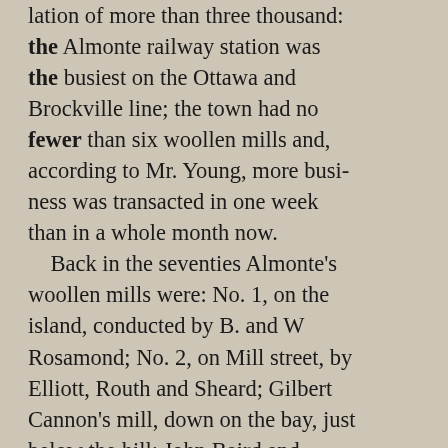lation of more than three thousand: the Almonte railway station was the busiest on the Ottawa and Brockville line; the town had no fewer than six woollen mills and, according to Mr. Young, more business was transacted in one week than in a whole month now. Back in the seventies Almonte's woollen mills were: No. 1, on the island, conducted by B. and W Rosamond; No. 2, on Mill street, by Elliott, Routh and Sheard; Gilbert Cannon's mill, down on the bay, just below the hill; John Baird and Company, on Mill street near McLean's grist mill; the Anchor Knitting Mill, on the island, and William Thoburn's mill on Little Bridge